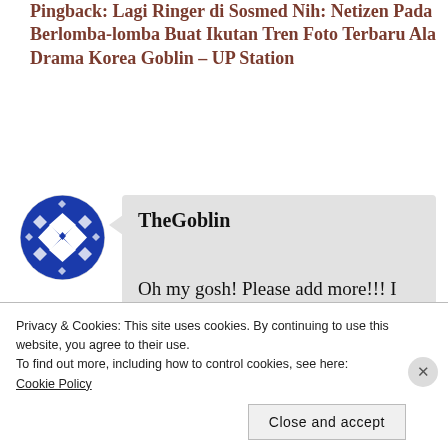Pingback: Lagi Ringer di Sosmed Nih: Netizen Pada Berlomba-lomba Buat Ikutan Tren Foto Terbaru Ala Drama Korea Goblin – UP Station
[Figure (illustration): Circular avatar with blue and white geometric/diamond pattern design]
TheGoblin
Oh my gosh! Please add more!!! I love this website so much(first
Privacy & Cookies: This site uses cookies. By continuing to use this website, you agree to their use.
To find out more, including how to control cookies, see here: Cookie Policy